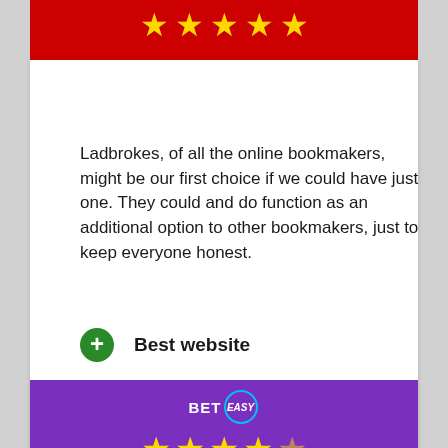[Figure (other): Red banner with 5 yellow star rating icons]
Ladbrokes, of all the online bookmakers, might be our first choice if we could have just one. They could and do function as an additional option to other bookmakers, just to keep everyone honest.
Best website
Excellent mobile apps
Large range of markets
[Figure (other): Red BET NOW button]
[Figure (logo): BetEasy logo on purple banner with yellow stars below]